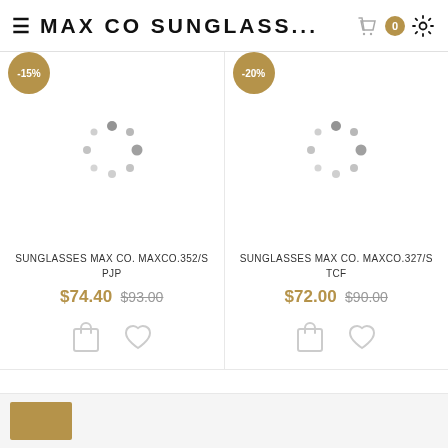≡ MAX CO SUNGLASS...
[Figure (screenshot): Loading spinner (dots in circular arrangement) for left product image]
SUNGLASSES MAX CO. MAXCO.352/S PJP
$74.40  $93.00
[Figure (screenshot): Loading spinner (dots in circular arrangement) for right product image]
SUNGLASSES MAX CO. MAXCO.327/S TCF
$72.00  $90.00